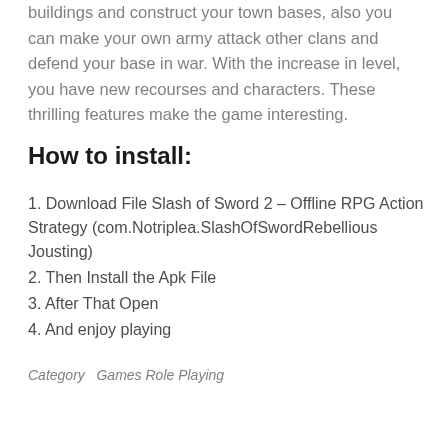buildings and construct your town bases, also you can make your own army attack other clans and defend your base in war. With the increase in level, you have new recourses and characters. These thrilling features make the game interesting.
How to install:
1. Download File Slash of Sword 2 – Offline RPG Action Strategy (com.Notriplea.SlashOfSwordRebellious​Jousting)
2. Then Install the Apk File
3. After That Open
4. And enjoy playing
Category   Games Role Playing